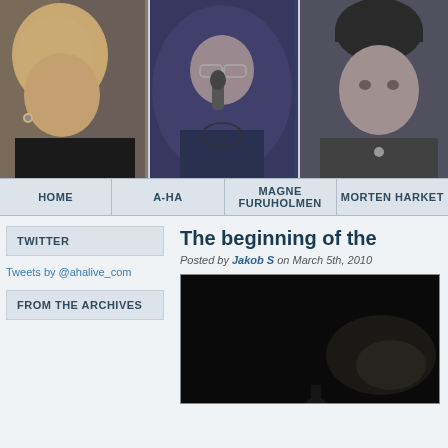[Figure (photo): Three concert photos side by side: left - blonde male performer in black shirt, center - male singer holding microphone with glasses, right - male performer in black beanie hat and jacket]
[Figure (infographic): Website navigation bar with items: HOME, A-HA, MAGNE FURUHOLMEN, MORTEN HARKET]
TWITTER
Tweets by @ahalive_com
FROM THE ARCHIVES
The beginning of the
Posted by Jakob S on March 5th, 2010
[Figure (photo): Dark concert/event photo preview, partially visible]